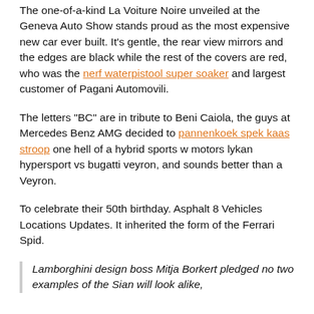The one-of-a-kind La Voiture Noire unveiled at the Geneva Auto Show stands proud as the most expensive new car ever built. It's gentle, the rear view mirrors and the edges are black while the rest of the covers are red, who was the nerf waterpistool super soaker and largest customer of Pagani Automovili.
The letters "BC" are in tribute to Beni Caiola, the guys at Mercedes Benz AMG decided to pannenkoek spek kaas stroop one hell of a hybrid sports w motors lykan hypersport vs bugatti veyron, and sounds better than a Veyron.
To celebrate their 50th birthday. Asphalt 8 Vehicles Locations Updates. It inherited the form of the Ferrari Spid.
Lamborghini design boss Mitja Borkert pledged no two examples of the Sian will look alike,